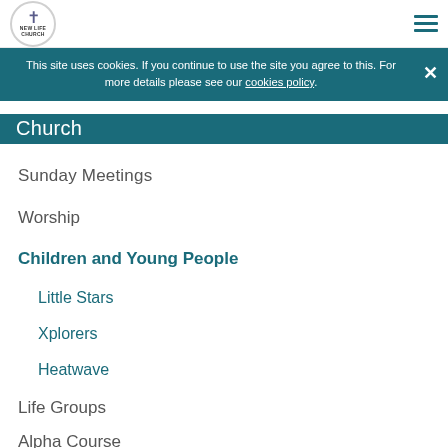New Life Church logo and hamburger menu icon
This site uses cookies. If you continue to use the site you agree to this. For more details please see our cookies policy.
Church
Sunday Meetings
Worship
Children and Young People
Little Stars
Xplorers
Heatwave
Life Groups
Alpha Course